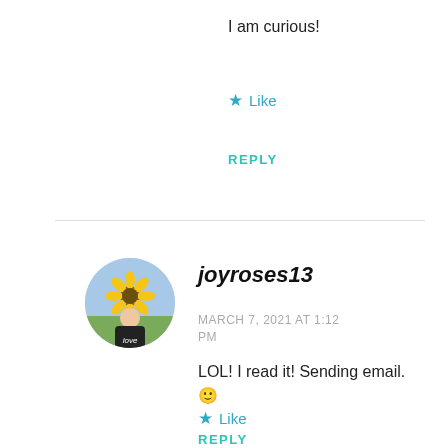I am curious!
★ Like
REPLY
[Figure (photo): Circular avatar photo of a woman with sunflowers in the background, with 'love' text overlay at the bottom]
joyroses13
MARCH 7, 2021 AT 1:12 PM
LOL! I read it! Sending email. 🙂
★ Like
REPLY